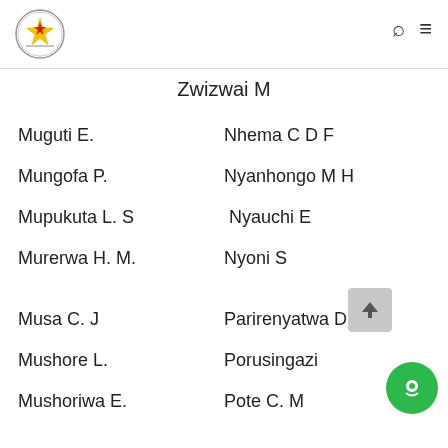Parliament of Zimbabwe header with logo and navigation icons
Zwizwai M
Muguti E.
Nhema C D F
Mungofa P.
Nyanhongo M H
Mupukuta L. S
Nyauchi E
Murerwa H. M.
Nyoni S
Musa C. J
Parirenyatwa D P
Mushore L.
Porusingazi
Mushoriwa E.
Pote C. M